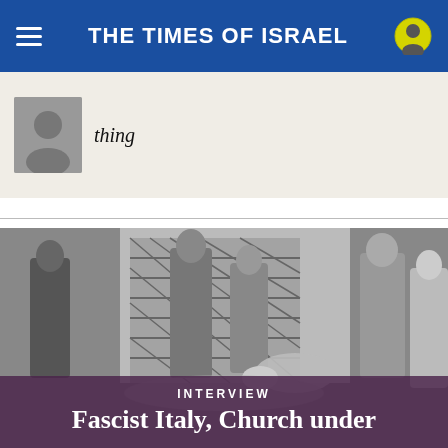THE TIMES OF ISRAEL
thing
[Figure (photo): Black and white historical photograph showing several men in suits, one person crouched on the ground, near a metal grate door. Scene appears to depict a street confrontation or incident in mid-20th century Italy.]
INTERVIEW
Fascist Italy, Church under